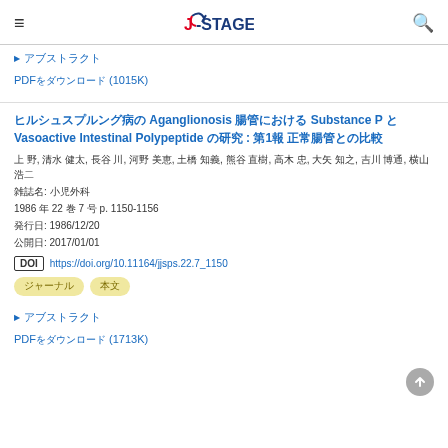J-STAGE
▶ アブストラクト
PDFをダウンロード (1015K)
ヒルシュスプルング病の Aganglionosis 腸管における Substance P と Vasoactive Intestinal Polypeptide の研究 : 第1報 正常腸管との比較
上 野, 清水 健太, 長谷 川, 河野 美恵, 土橋 知義, 熊谷 直樹, 高木 忠, 大矢 知之, 吉川 博通, 横山 浩二
雑誌名: 小児外科
1986 年 22 巻 7 号 p. 1150-1156
発行日: 1986/12/20
公開日: 2017/01/01
DOI https://doi.org/10.11164/jjsps.22.7_1150
ジャーナル
本文
▶ アブストラクト
PDFをダウンロード (1713K)